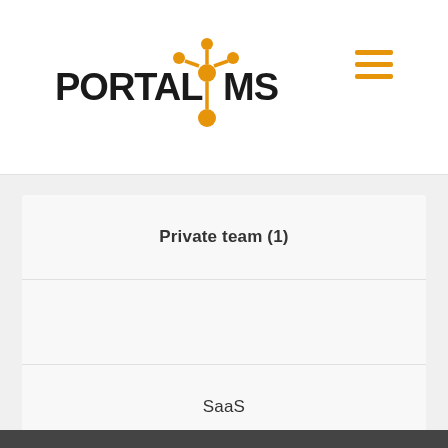[Figure (logo): PortalCMS logo with orange molecule/network icon and bold text PORTALCMS]
[Figure (other): Hamburger menu icon with three orange horizontal lines]
Private team (1)
SaaS